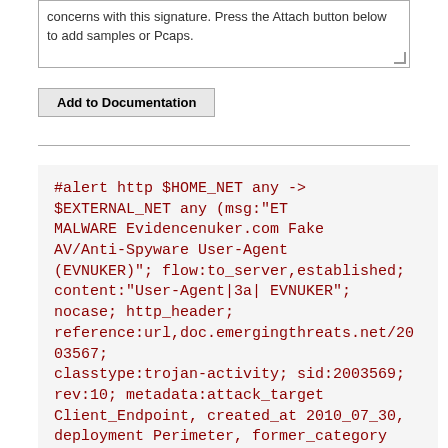concerns with this signature. Press the Attach button below to add samples or Pcaps.
Add to Documentation
#alert http $HOME_NET any -> $EXTERNAL_NET any (msg:"ET MALWARE Evidencenuker.com Fake AV/Anti-Spyware User-Agent (EVNUKER)"; flow:to_server,established; content:"User-Agent|3a| EVNUKER"; nocase; http_header; reference:url,doc.emergingthreats.net/2003567; classtype:trojan-activity; sid:2003569; rev:10; metadata:attack_target Client_Endpoint, created_at 2010_07_30, deployment Perimeter, former_category ADWARE_PUP, signature_severity Minor, tag Spyware_User_Agent, updated_at 2016_07_01;)